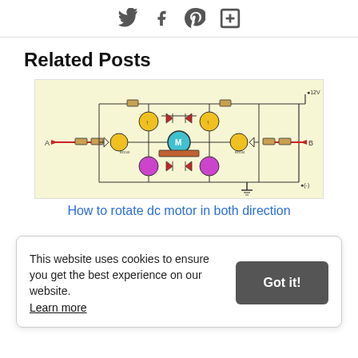[Figure (other): Social media share icons: Twitter, Facebook, Pinterest, and Add/Plus button]
Related Posts
[Figure (circuit-diagram): H-bridge DC motor control circuit diagram showing transistors, diodes, resistors, and a motor (M) in the center with +12V and (-) power rails, labeled points A and B]
How to rotate dc motor in both direction
This website uses cookies to ensure you get the best experience on our website. Learn more